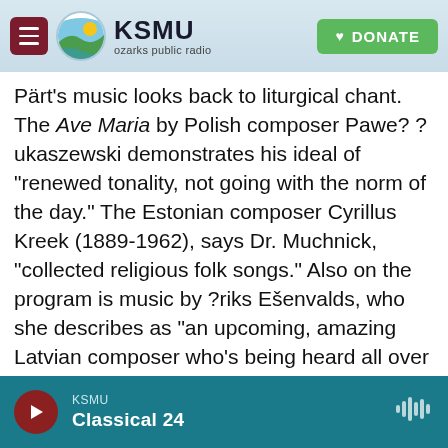KSMU ozarks public radio | DONATE
Pärt's music looks back to liturgical chant.  The Ave Maria by Polish composer Pawe? ?ukaszewski demonstrates his ideal of "renewed tonality, not going with the norm of the day." The Estonian composer Cyrillus Kreek (1889-1962), says Dr. Muchnick, "collected religious folk songs." Also on the program is music by ?riks Ešenvalds, who she describes as "an upcoming, amazing Latvian composer who's being heard all over the world.  So it's a really interesting group of works. It's not that you're not going to hear some dissonance, but it's all very interesting–and very different."
KSMU Classical 24